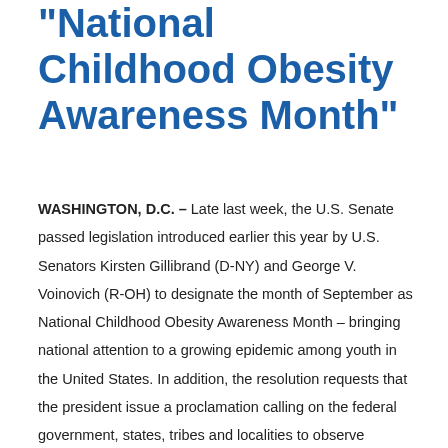"National Childhood Obesity Awareness Month"
WASHINGTON, D.C. – Late last week, the U.S. Senate passed legislation introduced earlier this year by U.S. Senators Kirsten Gillibrand (D-NY) and George V. Voinovich (R-OH) to designate the month of September as National Childhood Obesity Awareness Month – bringing national attention to a growing epidemic among youth in the United States. In addition, the resolution requests that the president issue a proclamation calling on the federal government, states, tribes and localities to observe September with programs that promote healthy eating and physical activity among all ages. The companion resolution, introduced by Rep. Marcia